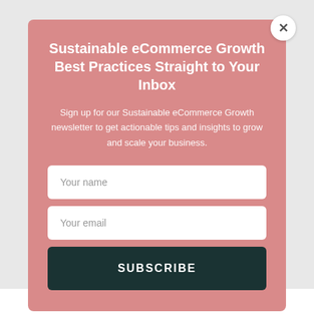Sustainable eCommerce Growth Best Practices Straight to Your Inbox
Sign up for our Sustainable eCommerce Growth newsletter to get actionable tips and insights to grow and scale your business.
Your name
Your email
SUBSCRIBE
Google Ads for eCommerce (1)